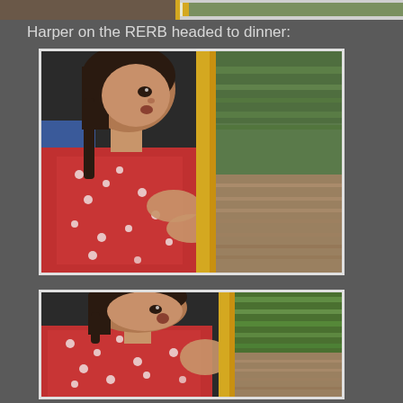[Figure (photo): Partial photo strip at top of page showing a child and train window, cropped]
Harper on the RERB headed to dinner:
[Figure (photo): A young girl in a red polka-dot dress looking out the window of a train (RERB), pressing her hands against the glass, with blurred trees and train tracks visible outside]
[Figure (photo): Second photo of the same young girl in a red polka-dot dress on the train, looking out the window with her hand pressed against the glass, green trees visible outside]